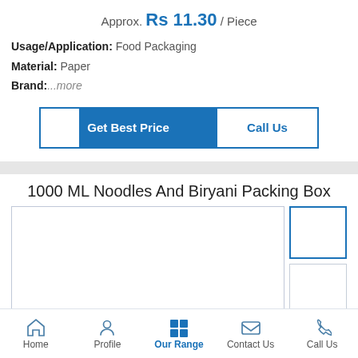Approx. Rs 11.30 / Piece
Usage/Application: Food Packaging
Material: Paper
Brand:...more
Get Best Price | Call Us
1000 ML Noodles And Biryani Packing Box
[Figure (photo): Product image area with main image placeholder and two thumbnail placeholders]
Home  Profile  Our Range  Contact Us  Call Us